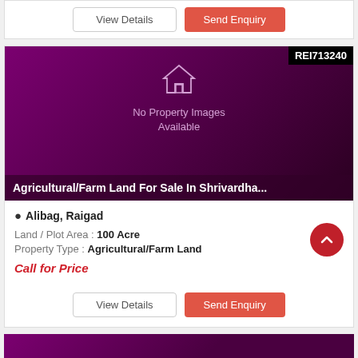[Figure (screenshot): Top card showing View Details and Send Enquiry buttons]
[Figure (photo): Property listing card with purple background showing no property images available, REI713240 badge, and title Agricultural/Farm Land For Sale In Shrivardha...]
Alibag, Raigad
Land / Plot Area : 100 Acre
Property Type : Agricultural/Farm Land
Call for Price
[Figure (screenshot): Bottom card buttons: View Details and Send Enquiry]
[Figure (screenshot): Bottom purple strip beginning of next card]